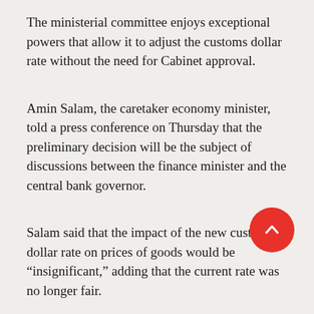The ministerial committee enjoys exceptional powers that allow it to adjust the customs dollar rate without the need for Cabinet approval.
Amin Salam, the caretaker economy minister, told a press conference on Thursday that the preliminary decision will be the subject of discussions between the finance minister and the central bank governor.
Salam said that the impact of the new customs dollar rate on prices of goods would be “insignificant,” adding that the current rate was no longer fair.
“We want to adjust the wages and salaries of civil servants,’’ he said.
Salam also voiced fears that traders might store goods